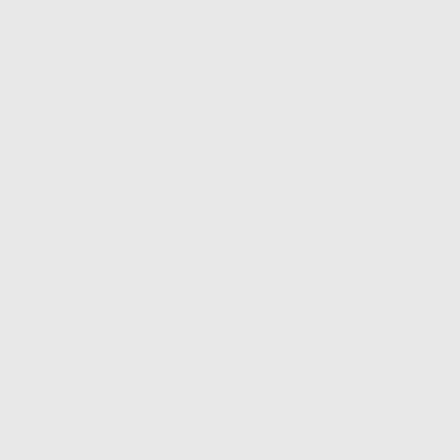[Figure (photo): Book cover: Affirmative Action in Medicine, grayscale medical imagery]
Jam...
An i... hea...
Hard
Ebo...
14.
[Figure (photo): Book cover: Matters of Culture, dark brown tones with orange circle]
A C...
Two... Stig...
An a... inh...
Hard
15.
[Figure (photo): Book cover: Putting the Invisible Hand, text on light background]
Pu...
Con... Kim...